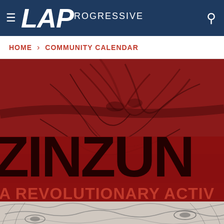≡ LAPRogressive
HOME › COMMUNITY CALENDAR
[Figure (illustration): Hero image for a publication about 'ZINZUN: A REVOLUTIONARY ACTIV...' showing stylized portrait artwork of a person with red overlay tones and bold distressed typography]